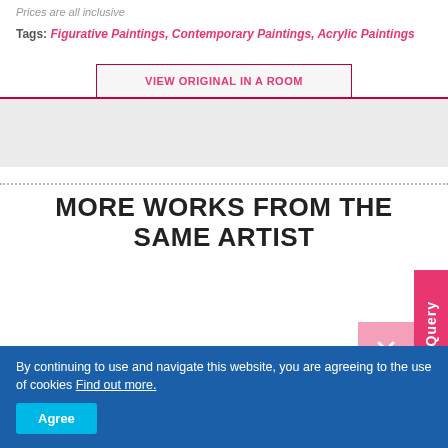Prices are all inclusive
Tags: Figurative Paintings, Contemporary Paintings, Acrylic Paintings
[Figure (screenshot): A tab-style button labeled 'VIEW ORIGINAL IN A ROOM' with a dark pink/crimson border on a light gray background panel]
MORE WORKS FROM THE SAME ARTIST
By continuing to use and navigate this website, you are agreeing to the use of cookies Find out more.